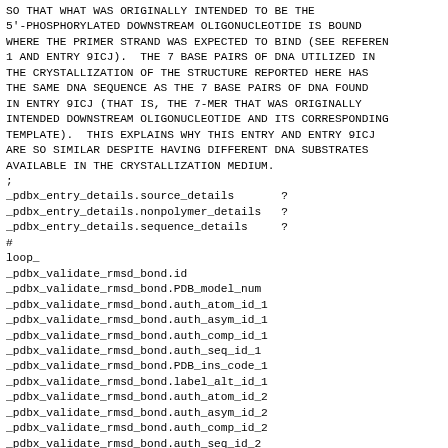SO THAT WHAT WAS ORIGINALLY INTENDED TO BE THE
5'-PHOSPHORYLATED DOWNSTREAM OLIGONUCLEOTIDE IS BOUND
WHERE THE PRIMER STRAND WAS EXPECTED TO BIND (SEE REFEREN
1 AND ENTRY 9ICJ).  THE 7 BASE PAIRS OF DNA UTILIZED IN
THE CRYSTALLIZATION OF THE STRUCTURE REPORTED HERE HAS
THE SAME DNA SEQUENCE AS THE 7 BASE PAIRS OF DNA FOUND
IN ENTRY 9ICJ (THAT IS, THE 7-MER THAT WAS ORIGINALLY
INTENDED DOWNSTREAM OLIGONUCLEOTIDE AND ITS CORRESPONDING
TEMPLATE).  THIS EXPLAINS WHY THIS ENTRY AND ENTRY 9ICJ
ARE SO SIMILAR DESPITE HAVING DIFFERENT DNA SUBSTRATES
AVAILABLE IN THE CRYSTALLIZATION MEDIUM.
;
_pdbx_entry_details.source_details       ?
_pdbx_entry_details.nonpolymer_details   ?
_pdbx_entry_details.sequence_details     ?
#
loop_
_pdbx_validate_rmsd_bond.id
_pdbx_validate_rmsd_bond.PDB_model_num
_pdbx_validate_rmsd_bond.auth_atom_id_1
_pdbx_validate_rmsd_bond.auth_asym_id_1
_pdbx_validate_rmsd_bond.auth_comp_id_1
_pdbx_validate_rmsd_bond.auth_seq_id_1
_pdbx_validate_rmsd_bond.PDB_ins_code_1
_pdbx_validate_rmsd_bond.label_alt_id_1
_pdbx_validate_rmsd_bond.auth_atom_id_2
_pdbx_validate_rmsd_bond.auth_asym_id_2
_pdbx_validate_rmsd_bond.auth_comp_id_2
_pdbx_validate_rmsd_bond.auth_seq_id_2
_pdbx_validate_rmsd_bond.PDB_ins_code_2